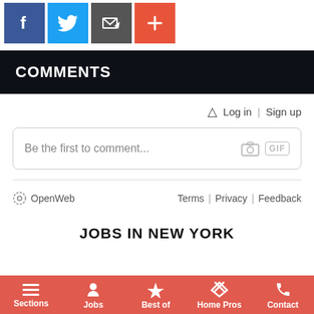[Figure (other): Social sharing icons: Facebook (blue), Twitter (light blue), Email/newsletter (dark gray), Plus/more (red-orange)]
COMMENTS
[Figure (screenshot): Comment input area with Log in / Sign up links, bell icon, text input box saying 'Be the first to comment...', camera icon, GIF button, OpenWeb logo, Terms, Privacy, Feedback links]
JOBS IN NEW YORK
Sections | Jobs | Best of | Home Pros | Contact